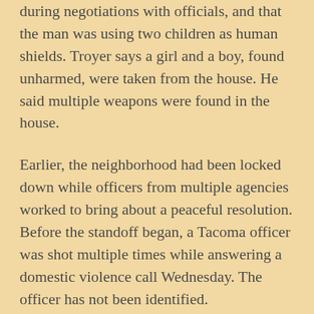during negotiations with officials, and that the man was using two children as human shields. Troyer says a girl and a boy, found unharmed, were taken from the house. He said multiple weapons were found in the house.
Earlier, the neighborhood had been locked down while officers from multiple agencies worked to bring about a peaceful resolution. Before the standoff began, a Tacoma officer was shot multiple times while answering a domestic violence call Wednesday. The officer has not been identified.
Tacoma Police spokeswoman Loretta Cool said the officer was pronounced dead at the hospital after